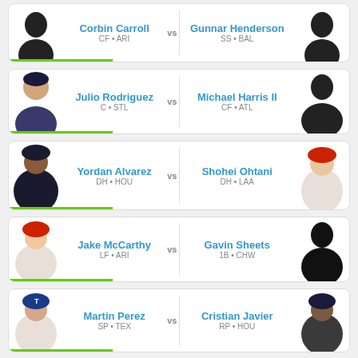[Figure (infographic): Matchup card: Corbin Carroll (CF, ARI) vs Gunnar Henderson (SS, BAL) with player silhouettes]
[Figure (infographic): Matchup card: Julio Rodriguez (C, STL) vs Michael Harris II (CF, ATL) with player photos]
[Figure (infographic): Matchup card: Yordan Alvarez (DH, HOU) vs Shohei Ohtani (DH, LAA) with player photos]
[Figure (infographic): Matchup card: Jake McCarthy (LF, ARI) vs Gavin Sheets (1B, CHW) with player photos]
[Figure (infographic): Matchup card: Martin Perez (SP, TEX) vs Cristian Javier (RP, HOU) with player photos]
GET PERSONALIZED OPTIMAL LINEUPS